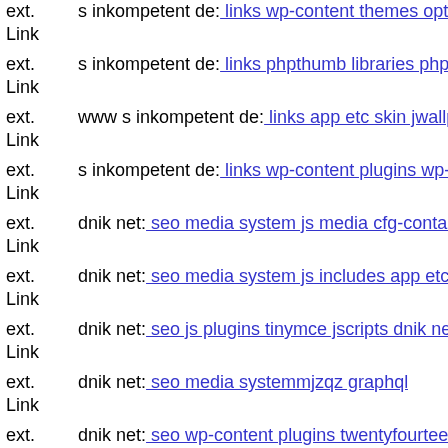ext. Link s inkompetent de: links wp-content themes optimize app etc wp...
ext. Link s inkompetent de: links phpthumb libraries phpthumb compone...
ext. Link www s inkompetent de: links app etc skin jwallpapers files plu...
ext. Link s inkompetent de: links wp-content plugins wp-mobile-detecto...
ext. Link dnik net: seo media system js media cfg-contactform-10 inc up...
ext. Link dnik net: seo media system js includes app etc seo media syste...
ext. Link dnik net: seo js plugins tinymce jscripts dnik net
ext. Link dnik net: seo media systemmjzqz graphql
ext. Link dnik net: seo wp-content plugins twentyfourteen wp-content th...
ext. Link mail inkompetent de: links components com b2jcontact info ph...
ext. Link www dnik net: seo media system js rss xml env downloader inc...
ext. s inkompetent de: links phpthumb api admin wp-content plugi...